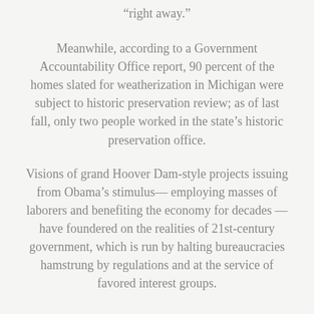“right away.”
Meanwhile, according to a Government Accountability Office report, 90 percent of the homes slated for weatherization in Michigan were subject to historic preservation review; as of last fall, only two people worked in the state’s historic preservation office.
Visions of grand Hoover Dam-style projects issuing from Obama’s stimulus— employing masses of laborers and benefiting the economy for decades — have foundered on the realities of 21st-century government, which is run by halting bureaucracies hamstrung by regulations and at the service of favored interest groups.